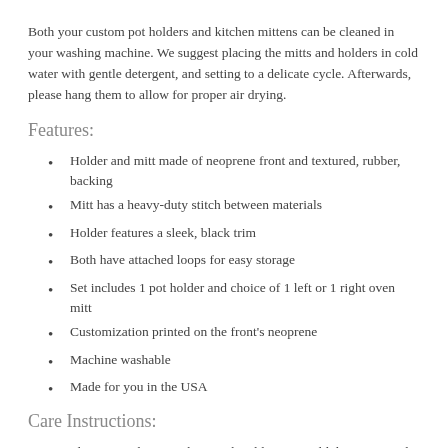Both your custom pot holders and kitchen mittens can be cleaned in your washing machine. We suggest placing the mitts and holders in cold water with gentle detergent, and setting to a delicate cycle. Afterwards, please hang them to allow for proper air drying.
Features:
Holder and mitt made of neoprene front and textured, rubber, backing
Mitt has a heavy-duty stitch between materials
Holder features a sleek, black trim
Both have attached loops for easy storage
Set includes 1 pot holder and choice of 1 left or 1 right oven mitt
Customization printed on the front's neoprene
Machine washable
Made for you in the USA
Care Instructions:
Place in washing machine with cold water, mild detergent, and on gentle cycle